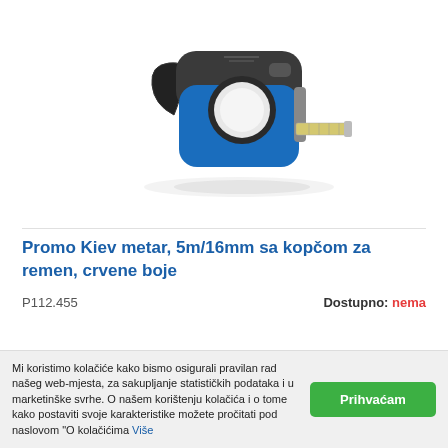[Figure (photo): Blue and black tape measure (5m/16mm) with belt clip, extended blade, on white background]
Promo Kiev metar, 5m/16mm sa kopčom za remen, crvene boje
P112.455
Dostupno: nema
Mi koristimo kolačiće kako bismo osigurali pravilan rad našeg web-mjesta, za sakupljanje statističkih podataka i u marketinške svrhe. O našem korištenju kolačića i o tome kako postaviti svoje karakteristike možete pročitati pod naslovom "O kolačićima Više
Prihvaćam